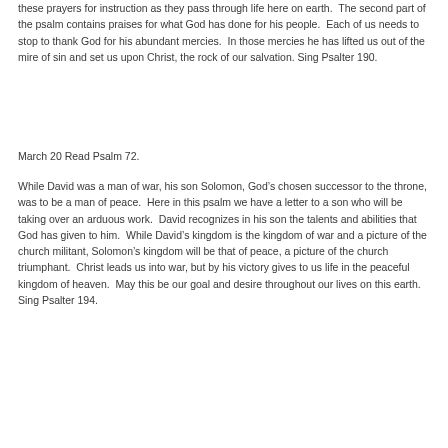these prayers for instruction as they pass through life here on earth.  The second part of the psalm contains praises for what God has done for his people.  Each of us needs to stop to thank God for his abundant mercies.  In those mercies he has lifted us out of the mire of sin and set us upon Christ, the rock of our salvation. Sing Psalter 190.
March 20 Read Psalm 72.
While David was a man of war, his son Solomon, God’s chosen successor to the throne, was to be a man of peace.  Here in this psalm we have a letter to a son who will be taking over an arduous work.  David recognizes in his son the talents and abilities that God has given to him.  While David’s kingdom is the kingdom of war and a picture of the church militant, Solomon’s kingdom will be that of peace, a picture of the church triumphant.  Christ leads us into war, but by his victory gives to us life in the peaceful kingdom of heaven.  May this be our goal and desire throughout our lives on this earth. Sing Psalter 194.